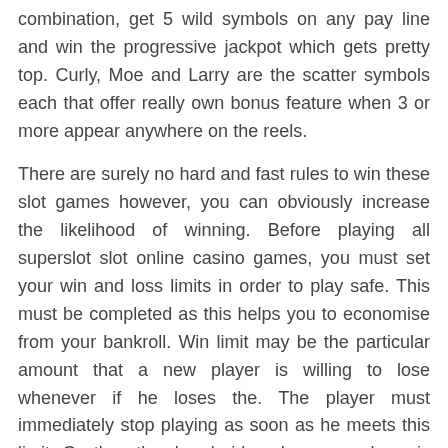combination, get 5 wild symbols on any pay line and win the progressive jackpot which gets pretty top. Curly, Moe and Larry are the scatter symbols each that offer really own bonus feature when 3 or more appear anywhere on the reels.
There are surely no hard and fast rules to win these slot games however, you can obviously increase the likelihood of winning. Before playing all superslot slot online casino games, you must set your win and loss limits in order to play safe. This must be completed as this helps you to economise from your bankroll. Win limit may be the particular amount that a new player is willing to lose whenever if he loses the. The player must immediately stop playing as soon as he meets this limit. On the other hand side, when your player is satisfied with end up getting he has won to date can stop playing recreation. However, it is important to follow these limits in order to increase bankroll any kind of future match.